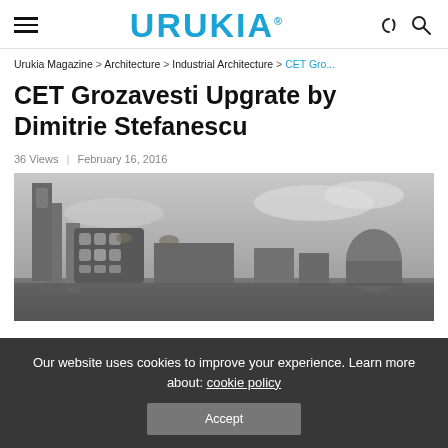URUKIA (logo)
Urukia Magazine > Architecture > Industrial Architecture > CET Gro...
CET Grozavesti Upgrate by Dimitrie Stefanescu
36 Views | February 16, 2016
[Figure (photo): Architectural rendering of CET Grozavesti upgrade project in black and white, showing industrial buildings with modern organic facade elements and greenery]
Our website uses cookies to improve your experience. Learn more about: cookie policy
Accept